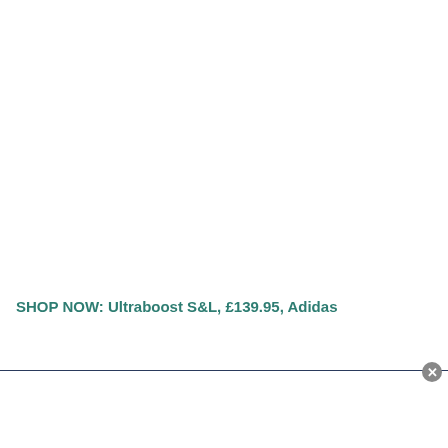SHOP NOW: Ultraboost S&L, £139.95, Adidas
[Figure (other): White advertisement banner area with close button (X) in top-right corner]